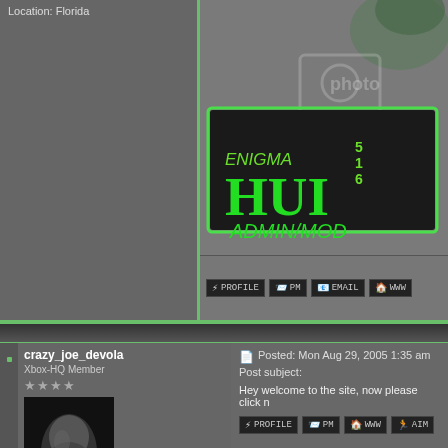Location: Florida
[Figure (screenshot): Gaming forum banner with ENIGMA 516 HUI logo in green neon style on dark background with ADMIN/MOD text, Hulk-like figure visible]
[Figure (infographic): Action buttons row: PROFILE, PM, EMAIL, WWW]
crazy_joe_devola
Xbox-HQ Member
★★★★
[Figure (photo): Forum user avatar: black and white photo of a hand/fist]
Xbox Version: V1.0a
Modded: Softmod V3.1
Posted: Mon Aug 29, 2005 1:35 am
Post subject:
Hey welcome to the site, now please click n
[Figure (infographic): Action buttons row: PROFILE, PM, WWW, AIM]